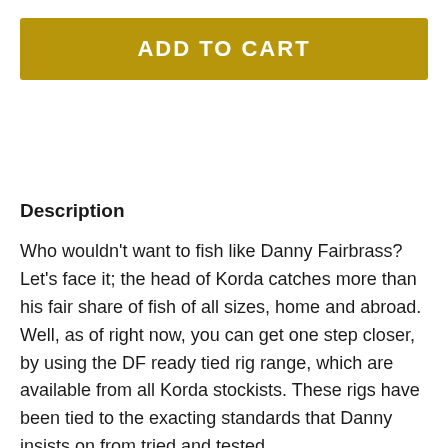[Figure (other): ADD TO CART button — gold/yellow rectangular button with white bold uppercase text]
Description
Who wouldn't want to fish like Danny Fairbrass? Let's face it; the head of Korda catches more than his fair share of fish of all sizes, home and abroad. Well, as of right now, you can get one step closer, by using the DF ready tied rig range, which are available from all Korda stockists. These rigs have been tied to the exacting standards that Danny insists on from tried and tested components. The design that has proven to be one of